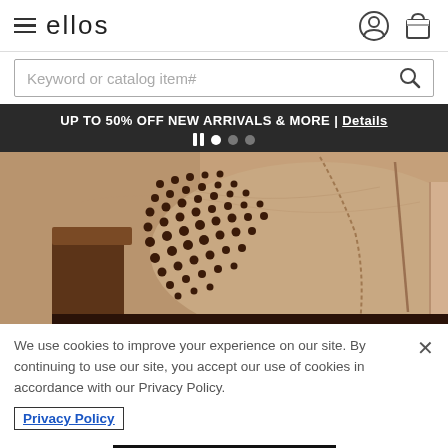ellos — navigation header with hamburger menu, user icon, cart icon
Keyword or catalog item#
UP TO 50% OFF NEW ARRIVALS & MORE | Details
[Figure (photo): Close-up photo of a tan/camel suede ankle boot with decorative laser-cut perforations in a floral/geometric pattern on the upper, with a stacked block heel.]
We use cookies to improve your experience on our site. By continuing to use our site, you accept our use of cookies in accordance with our Privacy Policy.
Privacy Policy
Accept Cookies